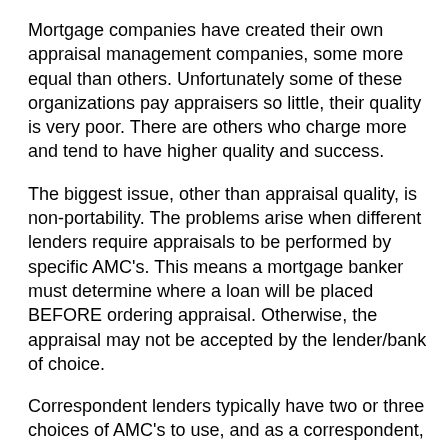Mortgage companies have created their own appraisal management companies, some more equal than others. Unfortunately some of these organizations pay appraisers so little, their quality is very poor. There are others who charge more and tend to have higher quality and success.
The biggest issue, other than appraisal quality, is non-portability. The problems arise when different lenders require appraisals to be performed by specific AMC's. This means a mortgage banker must determine where a loan will be placed BEFORE ordering appraisal. Otherwise, the appraisal may not be accepted by the lender/bank of choice.
Correspondent lenders typically have two or three choices of AMC's to use, and as a correspondent, the target lender will accept the appraisal. However, if a loan needs to be brokered to a specific bank due to loan program and parameters, the appraisal must be ordered through that bank's AMC. This is very limiting to borrowers since it removes much of the flexibility of choice...without ordering a second appraisal. If for some reason a file is declined or